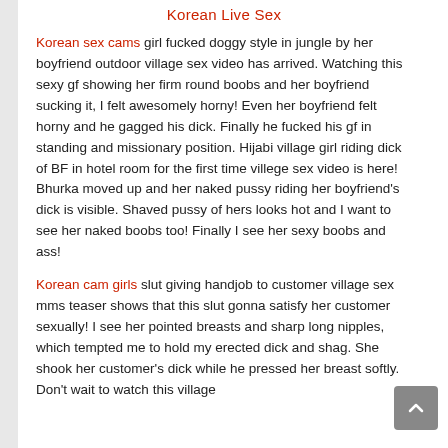Korean Live Sex
Korean sex cams girl fucked doggy style in jungle by her boyfriend outdoor village sex video has arrived. Watching this sexy gf showing her firm round boobs and her boyfriend sucking it, I felt awesomely horny! Even her boyfriend felt horny and he gagged his dick. Finally he fucked his gf in standing and missionary position. Hijabi village girl riding dick of BF in hotel room for the first time villege sex video is here! Bhurka moved up and her naked pussy riding her boyfriend's dick is visible. Shaved pussy of hers looks hot and I want to see her naked boobs too! Finally I see her sexy boobs and ass!
Korean cam girls slut giving handjob to customer village sex mms teaser shows that this slut gonna satisfy her customer sexually! I see her pointed breasts and sharp long nipples, which tempted me to hold my erected dick and shag. She shook her customer's dick while he pressed her breast softly. Don't wait to watch this village sex video. Korean villege wifes bothering and shaking while